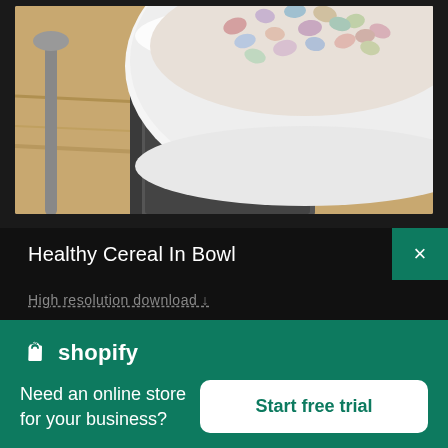[Figure (photo): Close-up photo of a white bowl filled with colorful cereal (fruit loops/loops style), placed on a wooden surface with a spoon visible on the left side. Shallow depth of field, warm tones.]
Healthy Cereal In Bowl
High resolution download ↓
[Figure (logo): Shopify logo: shopping bag icon in white with 'shopify' text in white on green background]
Need an online store for your business?
Start free trial